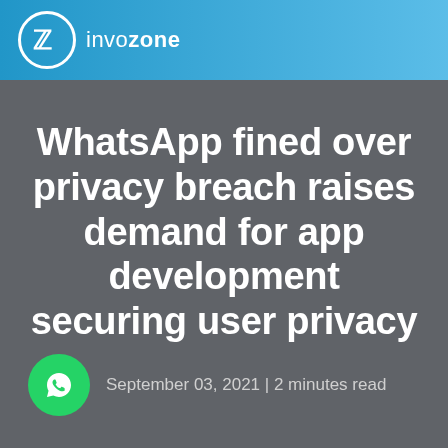invozone
WhatsApp fined over privacy breach raises demand for app development securing user privacy
September 03, 2021 | 2 minutes read